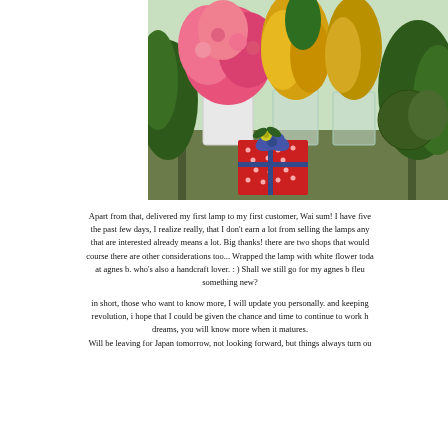[Figure (photo): Flower shop display with pink roses, yellow flowers, and green plants in metal buckets on a wooden table. A red polka-dot wrapped gift with a bow sits in the foreground.]
Apart from that, delivered my first lamp to my first customer, Wai sum! I have five the past few days, I realize really, that I don't earn a lot from selling the lamps any that are interested already means a lot. Big thanks! there are two shops that would course there are other considerations too... Wrapped the lamp with white flower toda at agnes b. who's also a handcraft lover. : ) Shall we still go for my agnes b fleu something new?
in short, those who want to know more, I will update you personally. and keeping revolution, i hope that I could be given the chance and time to continue to work h dreams, you will know more when it matures.
Will be leaving for Japan tomorrow, not looking forward, but things always turn ou